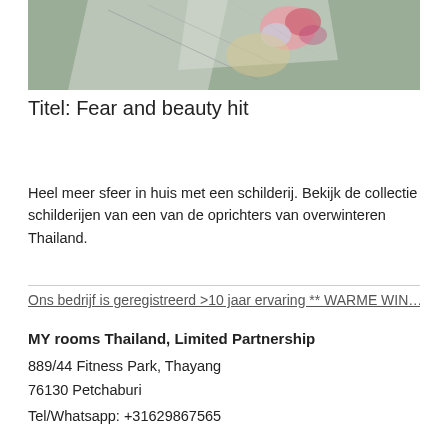[Figure (photo): A painting showing abstract figures with pink and colored forms on a grey-green background — part of a collection titled 'Fear and beauty hit']
Titel: Fear and beauty hit
Heel meer sfeer in huis met een schilderij. Bekijk de collectie schilderijen van een van de oprichters van overwinteren Thailand.
Ons bedrijf is geregistreerd >10 jaar ervaring ** WARME WIN…
MY rooms Thailand, Limited Partnership
889/44 Fitness Park, Thayang
76130 Petchaburi
Tel/Whatsapp: +31629867565